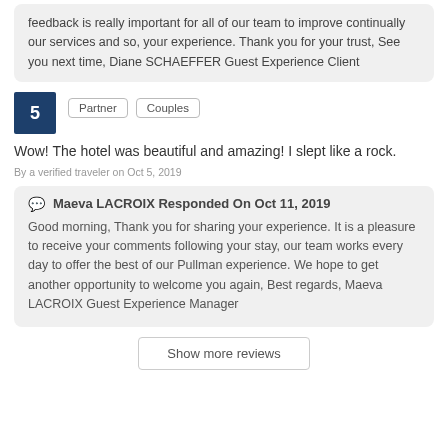feedback is really important for all of our team to improve continually our services and so, your experience. Thank you for your trust, See you next time, Diane SCHAEFFER Guest Experience Client
Partner
Couples
Wow! The hotel was beautiful and amazing! I slept like a rock.
By a verified traveler on Oct 5, 2019
Maeva LACROIX Responded On Oct 11, 2019
Good morning, Thank you for sharing your experience. It is a pleasure to receive your comments following your stay, our team works every day to offer the best of our Pullman experience. We hope to get another opportunity to welcome you again, Best regards, Maeva LACROIX Guest Experience Manager
Show more reviews